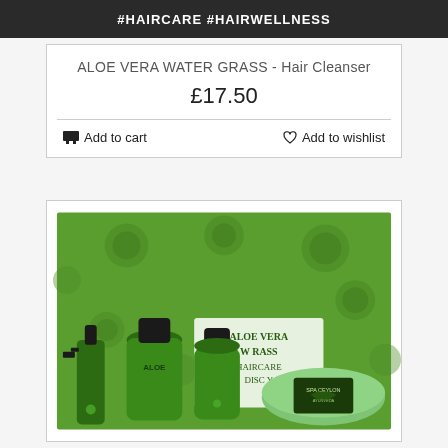#HAIRCARE #HAIRWELLNESS
ALOE VERA WATER GRASS - Hair Cleanser
£17.50
Add to cart
Add to wishlist
[Figure (photo): Aloe Vera Water Grass haircare discovery set in green gift box with green bottles and soap bar, Spa Ceylon branding visible]